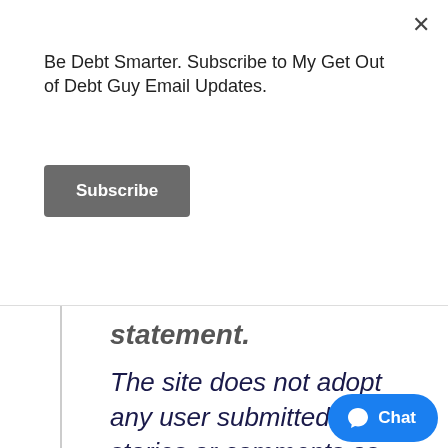Be Debt Smarter. Subscribe to My Get Out of Debt Guy Email Updates.
Subscribe
statement.
The site does not adopt any user submitted content, stories or comments as true, just “as is” in accordance with the site terms.
As we said in posting Jason